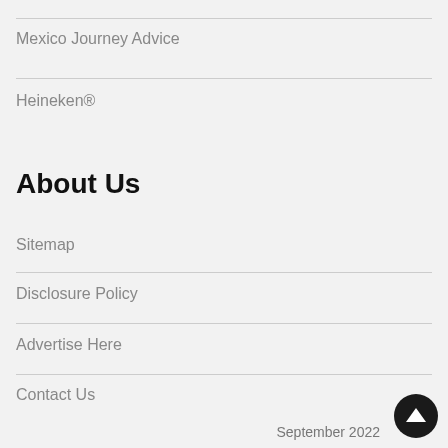Mexico Journey Advice
Heineken®
About Us
Sitemap
Disclosure Policy
Advertise Here
Contact Us
September 2022